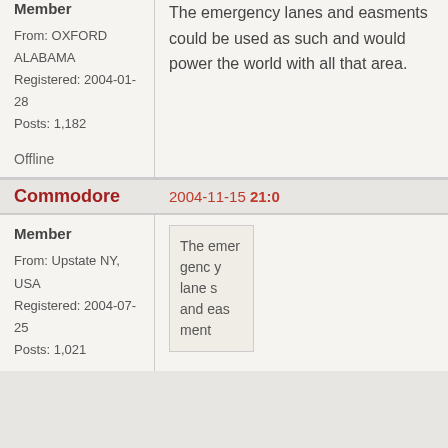Member
From: OXFORD ALABAMA
Registered: 2004-01-28
Posts: 1,182

Offline
The emergency lanes and easments could be used as such and would power the world with all that area.
Commodore	2004-11-15 21:0
Member
From: Upstate NY, USA
Registered: 2004-07-25
Posts: 1,021
The emergency lanes and easments...